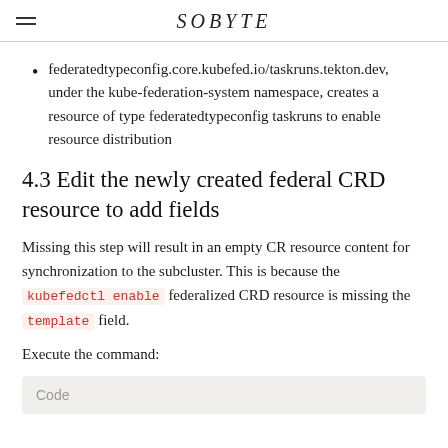SOBYTE
federatedtypeconfig.core.kubefed.io/taskruns.tekton.dev, under the kube-federation-system namespace, creates a resource of type federatedtypeconfig taskruns to enable resource distribution
4.3 Edit the newly created federal CRD resource to add fields
Missing this step will result in an empty CR resource content for synchronization to the subcluster. This is because the kubefedctl enable federalized CRD resource is missing the template field.
Execute the command:
Code